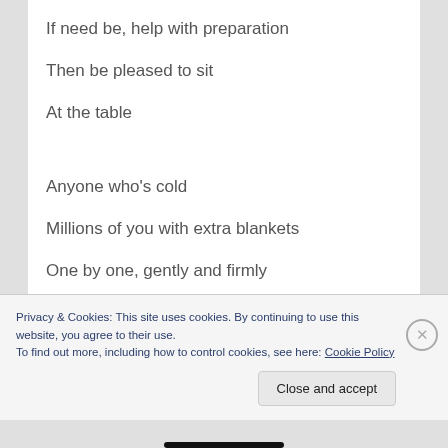If need be, help with preparation
Then be pleased to sit
At the table
Anyone who’s cold
Millions of you with extra blankets
One by one, gently and firmly
Place them
Around
Privacy & Cookies: This site uses cookies. By continuing to use this website, you agree to their use.
To find out more, including how to control cookies, see here: Cookie Policy